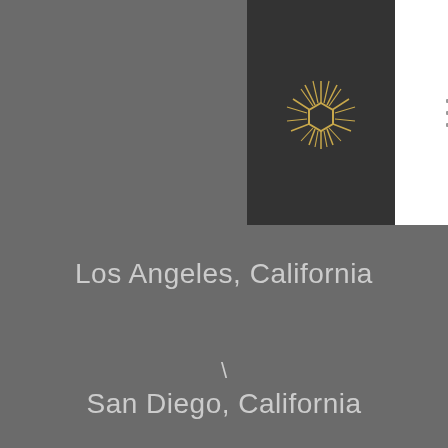[Figure (logo): Gold geometric sunburst/wheat logo on dark background panel, with hamburger menu icon on white panel]
Los Angeles, California
\
San Diego, California